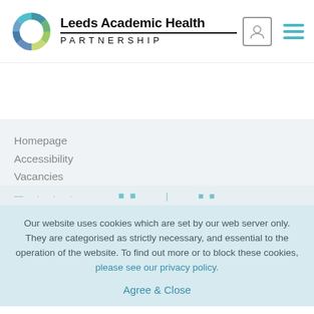[Figure (logo): Leeds Academic Health Partnership logo: multicolored circular ring on left, bold text 'Leeds Academic Health' with underline and 'PARTNERSHIP' in spaced capitals below, user icon in box and hamburger menu icon on right]
Homepage
Accessibility
Vacancies
Our website uses cookies which are set by our web server only. They are categorised as strictly necessary, and essential to the operation of the website. To find out more or to block these cookies, please see our privacy policy.
Agree & Close